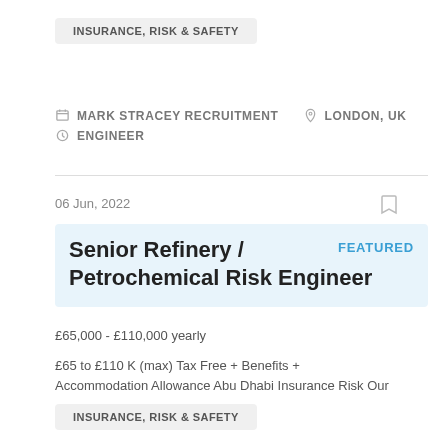INSURANCE, RISK & SAFETY
MARK STRACEY RECRUITMENT   LONDON, UK   ENGINEER
06 Jun, 2022
Senior Refinery / Petrochemical Risk Engineer
FEATURED
£65,000 - £110,000 yearly
£65 to £110 K (max) Tax Free + Benefits + Accommodation Allowance Abu Dhabi Insurance Risk Our
INSURANCE, RISK & SAFETY